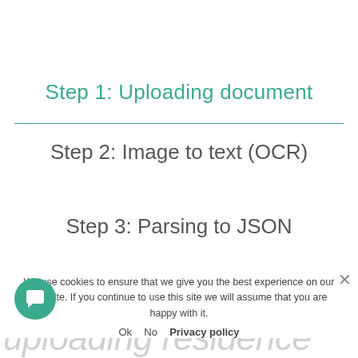Step 1: Uploading document
Step 2: Image to text (OCR)
Step 3: Parsing to JSON
We use cookies to ensure that we give you the best experience on our website. If you continue to use this site we will assume that you are happy with it.
Ok   No   Privacy policy
uploading residence